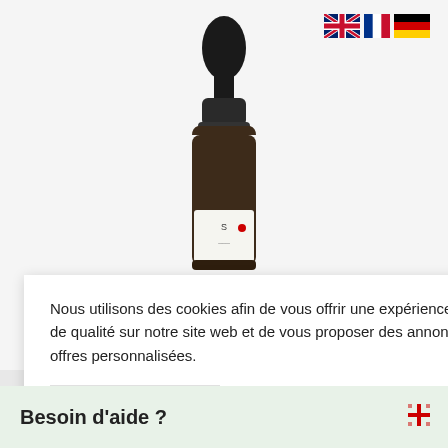[Figure (photo): Dark amber glass dropper bottle product photo centered on white/grey background]
[Figure (other): Three language flag icons: UK flag, French flag, German flag aligned top right]
Nous utilisons des cookies afin de vous offrir une expérience utilisateur de qualité sur notre site web et de vous proposer des annonces et des offres personnalisées.
Cookie Settings
Fermer la fenêtre
e Bio
Besoin d'aide ?